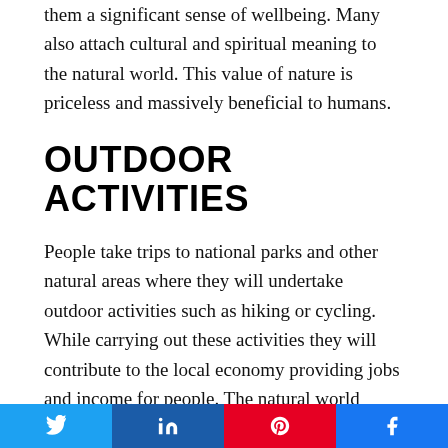them a significant sense of wellbeing. Many also attach cultural and spiritual meaning to the natural world. This value of nature is priceless and massively beneficial to humans.
OUTDOOR ACTIVITIES
People take trips to national parks and other natural areas where they will undertake outdoor activities such as hiking or cycling. While carrying out these activities they will contribute to the local economy providing jobs and income for people. The natural world therefore facilitates recreation and tourism.
[Figure (other): Social sharing buttons: Twitter, LinkedIn, Pinterest, Facebook]